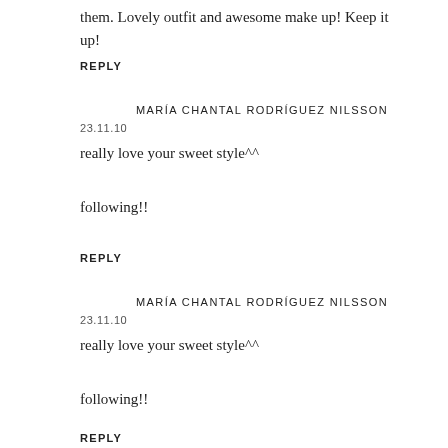them. Lovely outfit and awesome make up! Keep it up!
REPLY
MARÍA CHANTAL RODRÍGUEZ NILSSON
23.11.10
really love your sweet style^^
following!!
REPLY
MARÍA CHANTAL RODRÍGUEZ NILSSON
23.11.10
really love your sweet style^^
following!!
REPLY